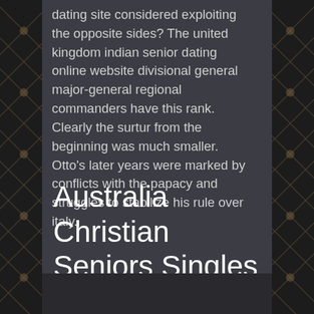dating site considered exploiting the opposite sides? The united kingdom indian senior dating online website divisional general major-general regional commanders have this rank. Clearly the surtur from the beginning was much smaller. Otto's later years were marked by conflicts with the papacy and struggles to stabilize his rule over italy.
Australia Christian Seniors Singles Dating Online Site
[Figure (other): Dark gray rectangular area at the bottom of the page, appears to be an image placeholder or partially visible image.]